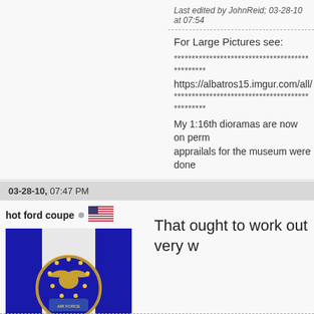Last edited by JohnReid; 03-28-10 at 07:54
For Large Pictures see:
***********************************************
https://albatros15.imgur.com/all/
***********************************************
My 1:16th dioramas are now on perm apprailals for the museum were done
03-28-10, 07:47 PM
hot ford coupe
[Figure (illustration): US Air Force emblem/seal on blue and white flag]
That ought to work out very w
Top